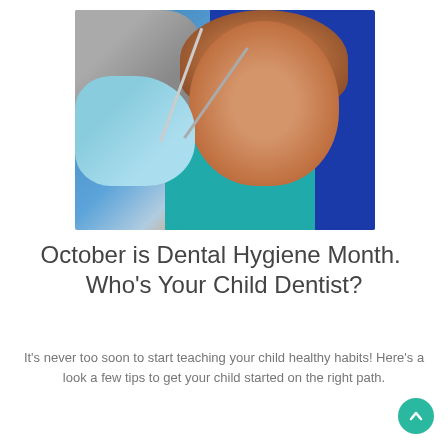[Figure (photo): A smiling young child with curly hair reclined in a blue dental chair, wearing a teal dental bib, while a dentist in grey scrubs and blue gloves holds dental instruments near the child's mouth.]
October is Dental Hygiene Month.  Who's Your Child Dentist?
It's never too soon to start teaching your child healthy habits! Here's a look a few tips to get your child started on the right path.